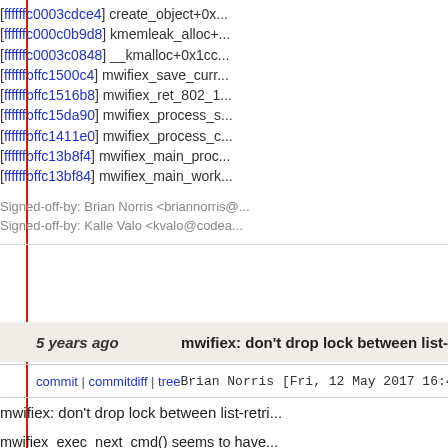[<ffffffc0003cdce4>] create_object+0x...
[<ffffffc000c0b9d8>] kmemleak_alloc+...
[<ffffffc0003c0848>] __kmalloc+0x1cc...
[<ffffffbffc1500c4>] mwifiex_save_curr...
[<ffffffbffc1516b8>] mwifiex_ret_802_1...
[<ffffffbffc15da90>] mwifiex_process_s...
[<ffffffbffc1411e0>] mwifiex_process_c...
[<ffffffbffc13b8f4>] mwifiex_main_proc...
[<ffffffbffc13bf84>] mwifiex_main_work...
Signed-off-by: Brian Norris <briannorris@...
Signed-off-by: Kalle Valo <kvalo@codea...
5 years ago	mwifiex: don't drop lock between list-...
commit | commitdiff | tree	Brian Norris [Fri, 12 May 2017 16:42...
mwifiex: don't drop lock between list-retri...

mwifiex_exec_next_cmd() seems to have...
drop the list lock in between retrieving th...
it from the list. This potentially leaves ro...
retrieve / steal this node from the list (e.g...
mwifiex_cancel_all_pending_cmd()).

Let's keep holding the lock while we do c...